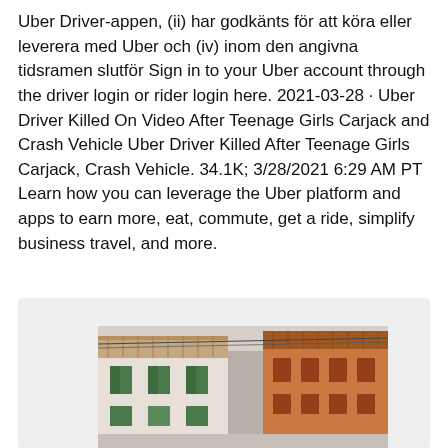Uber Driver-appen, (ii) har godkänts för att köra eller leverera med Uber och (iv) inom den angivna tidsramen slutför Sign in to your Uber account through the driver login or rider login here. 2021-03-28 · Uber Driver Killed On Video After Teenage Girls Carjack and Crash Vehicle Uber Driver Killed After Teenage Girls Carjack, Crash Vehicle. 34.1K; 3/28/2021 6:29 AM PT Learn how you can leverage the Uber platform and apps to earn more, eat, commute, get a ride, simplify business travel, and more.
[Figure (photo): A street scene photo showing Mediterranean-style buildings with terracotta rooftops, shuttered green windows, and orange/beige facades. Utility lines visible. Photo set against a light gray background container.]